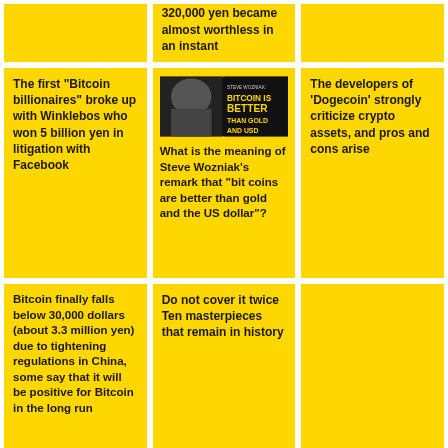[Figure (other): Yellow card top left - partially visible]
320,000 yen became almost worthless in an instant
[Figure (other): Yellow card top right - partially visible]
The first "Bitcoin billionaires" broke up with Winklebos who won 5 billion yen in litigation with Facebook
[Figure (photo): Steve Wozniak photo with text: STEVE WOZNIAK: BITCOIN IS BETTER THAN GOLD AND USD]
What is the meaning of Steve Wozniak's remark that "bit coins are better than gold and the US dollar"?
The developers of 'Dogecoin' strongly criticize crypto assets, and pros and cons arise
Bitcoin finally falls below 30,000 dollars (about 3.3 million yen) due to tightening regulations in China, some say that it will be positive for Bitcoin in the long run
Do not cover it twice Ten masterpieces that remain in history